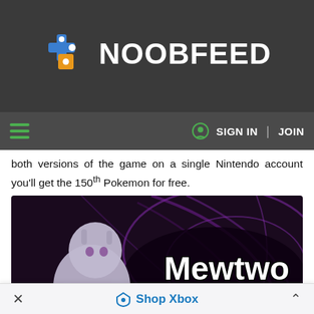NOOBFEED
both versions of the game on a single Nintendo account you'll get the 150th Pokemon for free.
[Figure (screenshot): Mewtwo Strikes Back! promotional image from Super Smash Bros, showing Mewtwo character with purple energy background and stylized text]
Shop Xbox